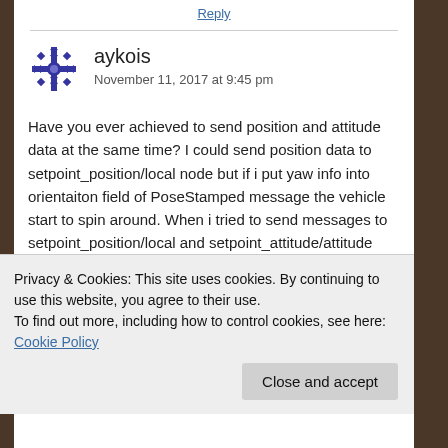Reply
aykois
November 11, 2017 at 9:45 pm
Have you ever achieved to send position and attitude data at the same time? I could send position data to setpoint_position/local node but if i put yaw info into orientaiton field of PoseStamped message the vehicle start to spin around. When i tried to send messages to setpoint_position/local and setpoint_attitude/attitude individually, the
Privacy & Cookies: This site uses cookies. By continuing to use this website, you agree to their use.
To find out more, including how to control cookies, see here: Cookie Policy